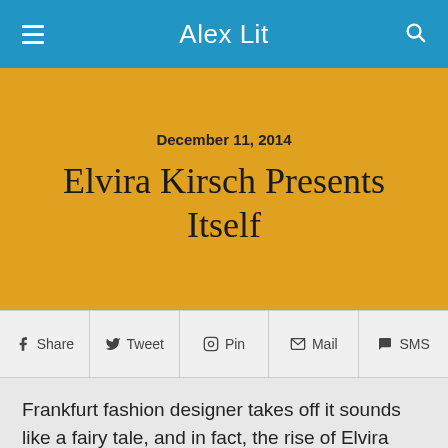Alex Lit
December 11, 2014
Elvira Kirsch Presents Itself
Share  Tweet  Pin  Mail  SMS
Frankfurt fashion designer takes off it sounds like a fairy tale, and in fact, the rise of Elvira Kirsch seems stellar. What began with a small tailoring in Frankfurt's University District has become Northrend in only five years a popular design studio in Frankfurt send. Customers from all over Germany, business women such as Fernsehmoderatorinnen, can make a